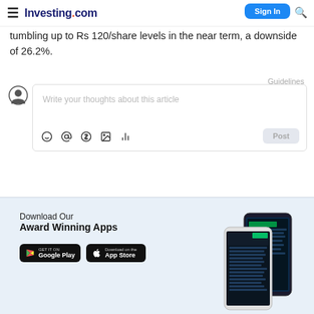Investing.com
tumbling up to Rs 120/share levels in the near term, a downside of 26.2%.
Guidelines
[Figure (screenshot): Comment input box with placeholder text 'Write your thoughts about this article', emoji/mention/tag icons, and a Post button]
[Figure (infographic): Download Our Award Winning Apps banner with Google Play and App Store buttons and phone screenshot mockup]